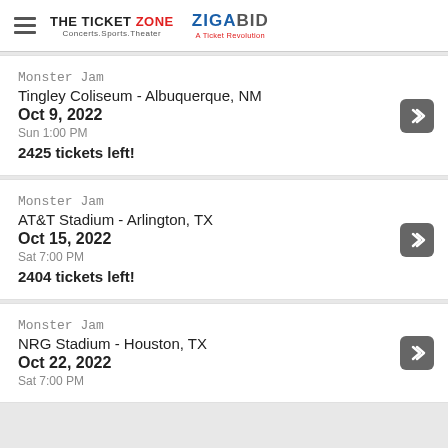THE TICKET ZONE Concerts.Sports.Theater | ZIGABID A Ticket Revolution
Monster Jam
Tingley Coliseum - Albuquerque, NM
Oct 9, 2022
Sun 1:00 PM
2425 tickets left!
Monster Jam
AT&T Stadium - Arlington, TX
Oct 15, 2022
Sat 7:00 PM
2404 tickets left!
Monster Jam
NRG Stadium - Houston, TX
Oct 22, 2022
Sat 7:00 PM